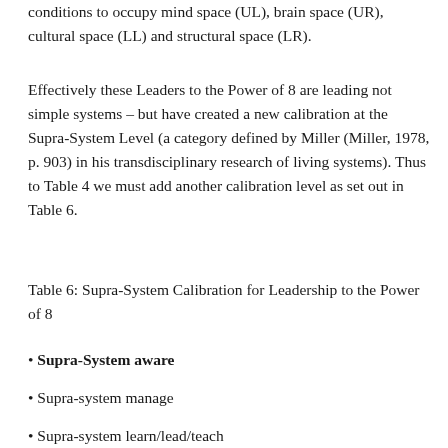conditions to occupy mind space (UL), brain space (UR), cultural space (LL) and structural space (LR).
Effectively these Leaders to the Power of 8 are leading not simple systems – but have created a new calibration at the Supra-System Level (a category defined by Miller (Miller, 1978, p. 903) in his transdisciplinary research of living systems). Thus to Table 4 we must add another calibration level as set out in Table 6.
Table 6: Supra-System Calibration for Leadership to the Power of 8
Supra-System aware
Supra-system manage
Supra-system learn/lead/teach